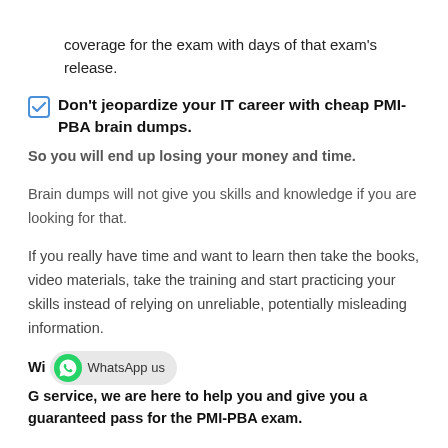coverage for the exam with days of that exam's release.
Don't jeopardize your IT career with cheap PMI-PBA brain dumps.
So you will end up losing your money and time.
Brain dumps will not give you skills and knowledge if you are looking for that.
If you really have time and want to learn then take the books, video materials, take the training and start practicing your skills instead of relying on unreliable, potentially misleading information.
With our DUMPSGATE service, we are here to help you and give you a guaranteed pass for the PMI-PBA exam.